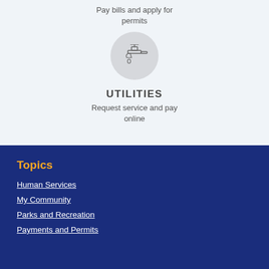Pay bills and apply for permits
[Figure (illustration): Circular gray icon with a water faucet/tap dripping a drop]
UTILITIES
Request service and pay online
Topics
Human Services
My Community
Parks and Recreation
Payments and Permits